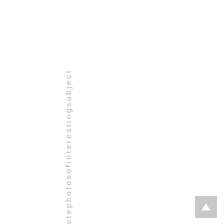stephotosofinterestingsubject
[Figure (other): Scroll-to-top button with upward arrow icon, gray background, bottom-right corner]